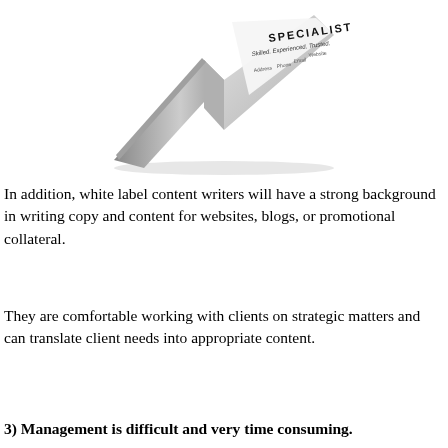[Figure (photo): A 3D rendered image of a metallic business card holder/tent card displaying the word SPECIALIST in bold letters, with tagline 'Skilled. Experienced. Trusted.' and fields for Address, Phone, Email, Website.]
In addition, white label content writers will have a strong background in writing copy and content for websites, blogs, or promotional collateral.
They are comfortable working with clients on strategic matters and can translate client needs into appropriate content.
3) Management is difficult and very time consuming.